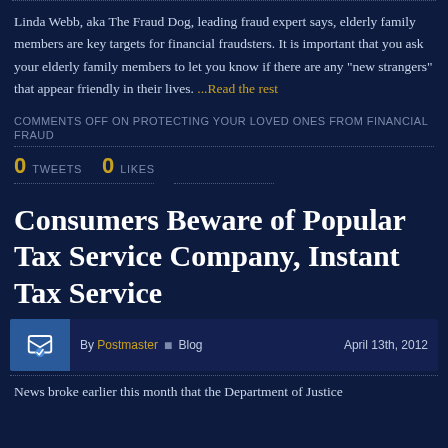Linda Webb, aka The Fraud Dog, leading fraud expert says, elderly family members are key targets for financial fraudsters. It is important that you ask your elderly family members to let you know if there are any "new strangers" that appear friendly in their lives. ...Read the rest
COMMENTS OFF ON PROTECTING YOUR LOVED ONES FROM FINANCIAL FRAUD
0 TWEETS   0 LIKES
Consumers Beware of Popular Tax Service Company, Instant Tax Service
By Postmaster | Blog | April 13th, 2012
News broke earlier this month that the Department of Justice